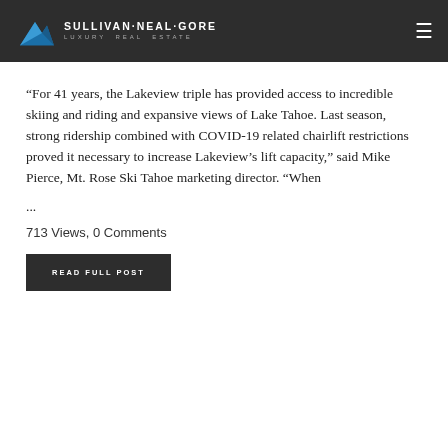Sullivan·Neal·Gore Luxury Real Estate
“For 41 years, the Lakeview triple has provided access to incredible skiing and riding and expansive views of Lake Tahoe. Last season, strong ridership combined with COVID-19 related chairlift restrictions proved it necessary to increase Lakeview’s lift capacity,” said Mike Pierce, Mt. Rose Ski Tahoe marketing director. “When
...
713 Views, 0 Comments
READ FULL POST